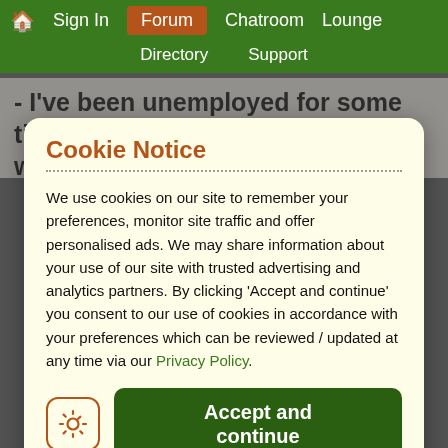Home | Sign In | Forum | Chatroom | Lounge | Directory | Support
- I've been unemployed for some time and I'm struggling to find work
- i get anxious about lots of things e.g. i'm doing
Cookie Notice
We use cookies on our site to remember your preferences, monitor site traffic and offer personalised ads. We may share information about your use of our site with trusted advertising and analytics partners. By clicking 'Accept and continue' you consent to our use of cookies in accordance with your preferences which can be reviewed / updated at any time via our Privacy Policy.
Accept and continue